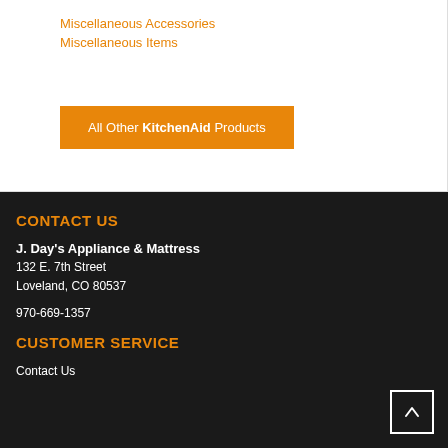Miscellaneous Accessories
Miscellaneous Items
All Other KitchenAid Products
CONTACT US
J. Day's Appliance & Mattress
132 E. 7th Street
Loveland, CO 80537
970-669-1357
CUSTOMER SERVICE
Contact Us